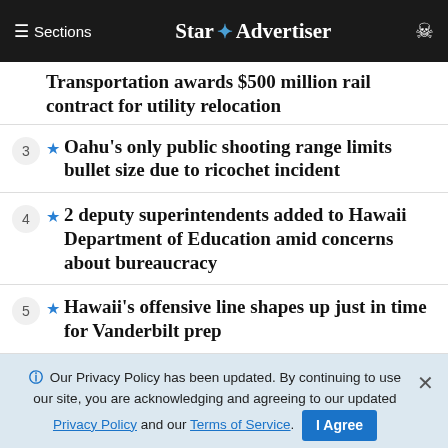Star Advertiser
Transportation awards $500 million rail contract for utility relocation
3 ★ Oahu's only public shooting range limits bullet size due to ricochet incident
4 ★ 2 deputy superintendents added to Hawaii Department of Education amid concerns about bureaucracy
5 ★ Hawaii's offensive line shapes up just in time for Vanderbilt prep
Our Privacy Policy has been updated. By continuing to use our site, you are acknowledging and agreeing to our updated Privacy Policy and our Terms of Service. I Agree